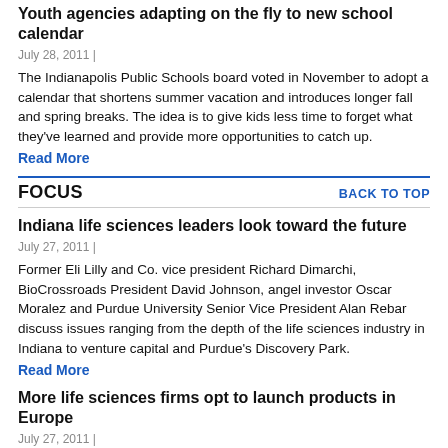Youth agencies adapting on the fly to new school calendar
July 28, 2011 |
The Indianapolis Public Schools board voted in November to adopt a calendar that shortens summer vacation and introduces longer fall and spring breaks. The idea is to give kids less time to forget what they've learned and provide more opportunities to catch up.
Read More
FOCUS
BACK TO TOP
Indiana life sciences leaders look toward the future
July 27, 2011 |
Former Eli Lilly and Co. vice president Richard Dimarchi, BioCrossroads President David Johnson, angel investor Oscar Moralez and Purdue University Senior Vice President Alan Rebar discuss issues ranging from the depth of the life sciences industry in Indiana to venture capital and Purdue's Discovery Park.
Read More
More life sciences firms opt to launch products in Europe
July 27, 2011 |